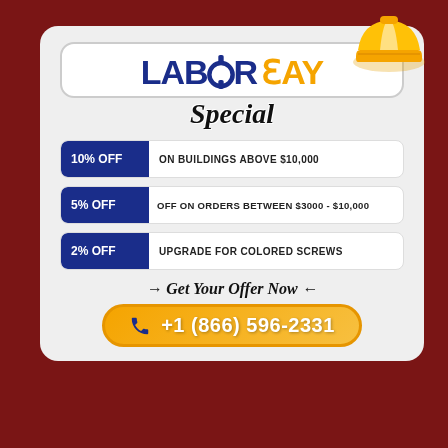[Figure (infographic): Labor Day Special promotional popup with logo, discount offers, and phone number]
LABOR DAY Special
10% OFF ON BUILDINGS ABOVE $10,000
5% OFF OFF ON ORDERS BETWEEN $3000 - $10,000
2% OFF UPGRADE FOR COLORED SCREWS
→ Get Your Offer Now ←
+1 (866) 596-2331